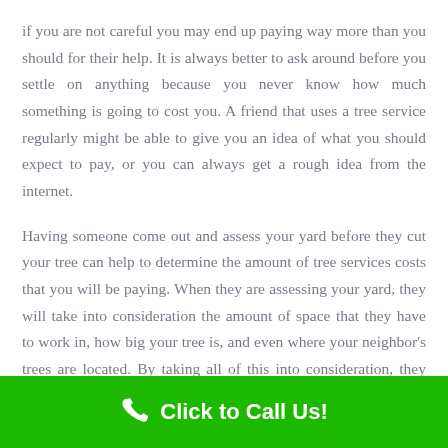if you are not careful you may end up paying way more than you should for their help. It is always better to ask around before you settle on anything because you never know how much something is going to cost you. A friend that uses a tree service regularly might be able to give you an idea of what you should expect to pay, or you can always get a rough idea from the internet.
Having someone come out and assess your yard before they cut your tree can help to determine the amount of tree services costs that you will be paying. When they are assessing your yard, they will take into consideration the amount of space that they have to work in, how big your tree is, and even where your neighbor's trees are located. By taking all of this into consideration, they are
Click to Call Us!